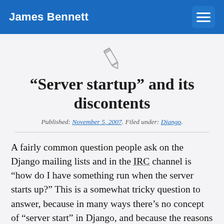James Bennett
[Figure (illustration): Pencil/edit icon in grey outline style, centered above the article title]
“Server startup” and its discontents
Published: November 5, 2007. Filed under: Django.
A fairly common question people ask on the Django mailing lists and in the IRC channel is “how do I have something run when the server starts up?” This is a somewhat tricky question to answer, because in many ways there’s no concept of “server start” in Django, and because the reasons behind the question vary from one use case to the next. So let’s take a